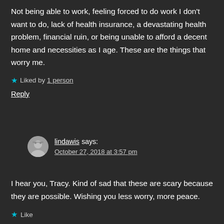Not being able to work, feeling forced to do work I don't want to do, lack of health insurance, a devastating health problem, financial ruin, or being unable to afford a decent home and necessities as I age. These are the things that worry me.
★ Liked by 1 person
Reply
lindawis says: October 27, 2018 at 3:57 pm
I hear you, Tracy. Kind of sad that these are scary because they are possible. Wishing you less worry, more peace.
★ Like